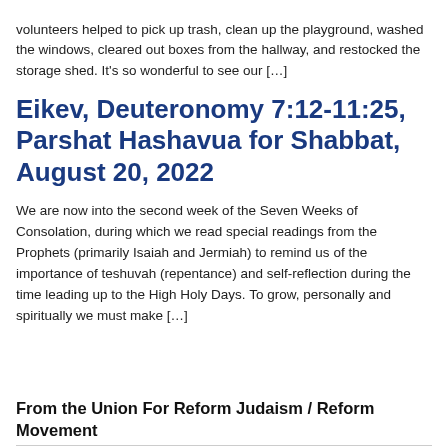volunteers helped to pick up trash, clean up the playground, washed the windows, cleared out boxes from the hallway, and restocked the storage shed. It's so wonderful to see our […]
Eikev, Deuteronomy 7:12-11:25, Parshat Hashavua for Shabbat, August 20, 2022
We are now into the second week of the Seven Weeks of Consolation, during which we read special readings from the Prophets (primarily Isaiah and Jermiah) to remind us of the importance of teshuvah (repentance) and self-reflection during the time leading up to the High Holy Days. To grow, personally and spiritually we must make […]
From the Union For Reform Judaism / Reform Movement